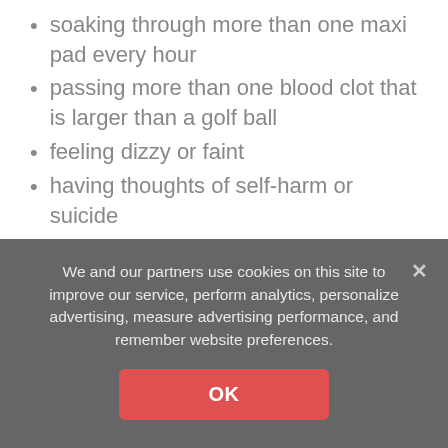soaking through more than one maxi pad every hour
passing more than one blood clot that is larger than a golf ball
feeling dizzy or faint
having thoughts of self-harm or suicide
showing signs of an allergic reaction, such as difficulty breathing
Women who have recently had an abortion should see a doctor within a day if they are:
We and our partners use cookies on this site to improve our service, perform analytics, personalize advertising, measure advertising performance, and remember website preferences.